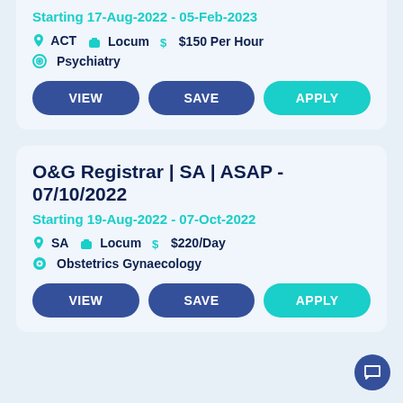Starting 17-Aug-2022 - 05-Feb-2023
ACT  Locum  $150 Per Hour  Psychiatry
VIEW  SAVE  APPLY
O&G Registrar | SA | ASAP - 07/10/2022
Starting 19-Aug-2022 - 07-Oct-2022
SA  Locum  $220/Day  Obstetrics Gynaecology
VIEW  SAVE  APPLY